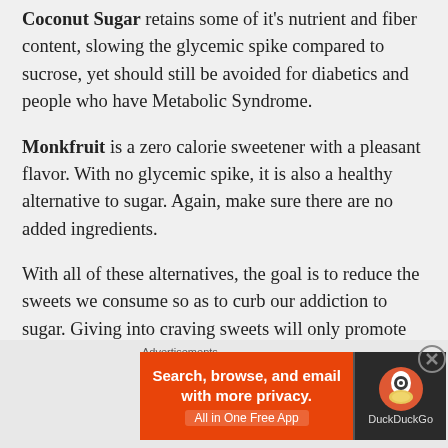Coconut Sugar retains some of it's nutrient and fiber content, slowing the glycemic spike compared to sucrose, yet should still be avoided for diabetics and people who have Metabolic Syndrome.
Monkfruit is a zero calorie sweetener with a pleasant flavor. With no glycemic spike, it is also a healthy alternative to sugar. Again, make sure there are no added ingredients.
With all of these alternatives, the goal is to reduce the sweets we consume so as to curb our addiction to sugar. Giving into craving sweets will only promote this vicious cycle where our body sends out signals that tell us we need to eat. Artificial sweeteners shoul
[Figure (screenshot): DuckDuckGo advertisement banner: orange section with text 'Search, browse, and email with more privacy. All in One Free App' and dark section with DuckDuckGo logo and name.]